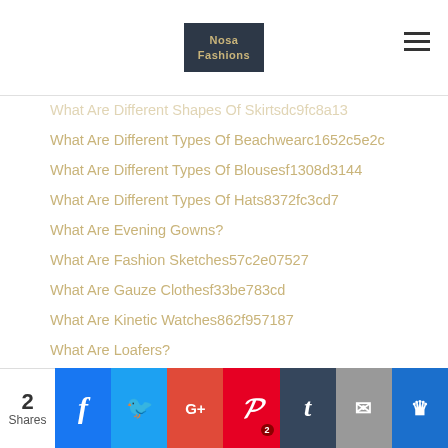Nosa Fashions
What Are Different Shapes Of Skirtsdc9fc8a13
What Are Different Types Of Beachwearc1652c5e2c
What Are Different Types Of Blousesf1308d3144
What Are Different Types Of Hats8372fc3cd7
What Are Evening Gowns?
What Are Fashion Sketches57c2e07527
What Are Gauze Clothesf33be783cd
What Are Kinetic Watches862f957187
What Are Loafers?
What Are Midi Skirts81208c80f5
What Are Pendantsada635f1fa
What Are Skinny Jeansa471b39251
What Are Some Ideas For An Office Wardrobe For Womene245bddfb2
What Are Some Types Of Jewelvс80aa2aba8
2 Shares | Facebook | Twitter | Google+ | Pinterest 2 | Tumblr | Email | Known